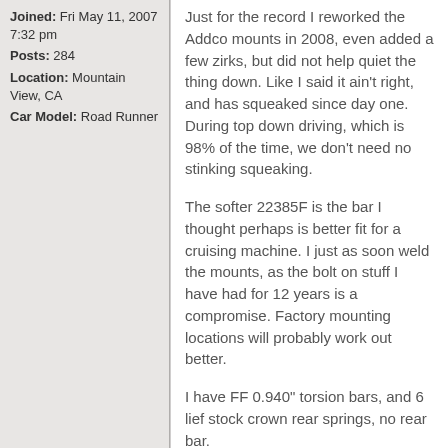Joined: Fri May 11, 2007 7:32 pm
Posts: 284
Location: Mountain View, CA
Car Model: Road Runner
Just for the record I reworked the Addco mounts in 2008, even added a few zirks, but did not help quiet the thing down. Like I said it ain't right, and has squeaked since day one. During top down driving, which is 98% of the time, we don't need no stinking squeaking.
The softer 22385F is the bar I thought perhaps is better fit for a cruising machine. I just as soon weld the mounts, as the bolt on stuff I have had for 12 years is a compromise. Factory mounting locations will probably work out better.
I have FF 0.940" torsion bars, and 6 lief stock crown rear springs, no rear bar.
Thanks for the tip on the 2255 bar not fitting.